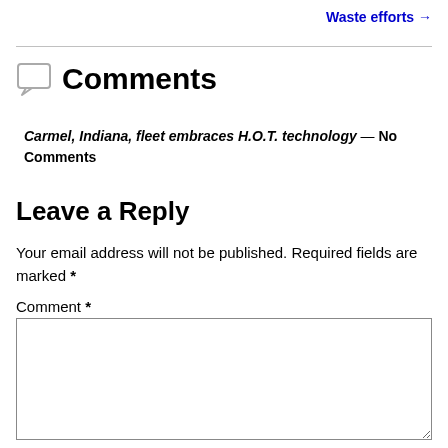Waste efforts →
Comments
Carmel, Indiana, fleet embraces H.O.T. technology — No Comments
Leave a Reply
Your email address will not be published. Required fields are marked *
Comment *